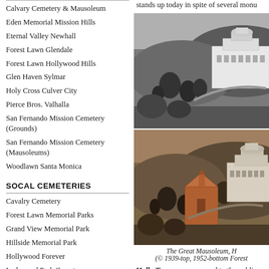Calvary Cemetery & Mausoleum
Eden Memorial Mission Hills
Eternal Valley Newhall
Forest Lawn Glendale
Forest Lawn Hollywood Hills
Glen Haven Sylmar
Holy Cross Culver City
Pierce Bros. Valhalla
San Fernando Mission Cemetery (Grounds)
San Fernando Mission Cemetery (Mausoleums)
Woodlawn Santa Monica
SOCAL CEMETERIES
Cavalry Cemetery
Forest Lawn Memorial Parks
Grand View Memorial Park
Hillside Memorial Park
Hollywood Forever
Inglewood Park Cemetery
Los Angeles National Cemetery
Los Angeles Pet Memorial Park
stands up today in spite of several monu
[Figure (photo): Black and white aerial photograph of a large white mausoleum building surrounded by trees and landscaped grounds, circa 1939.]
[Figure (photo): Sepia/color aerial photograph of the same mausoleum complex with surrounding grounds, circa 1952.]
The Great Mausoleum, H© 1939-top, 1952-bottom Forest
Holly Terrace was opened to the public and encouraged the public to visit the